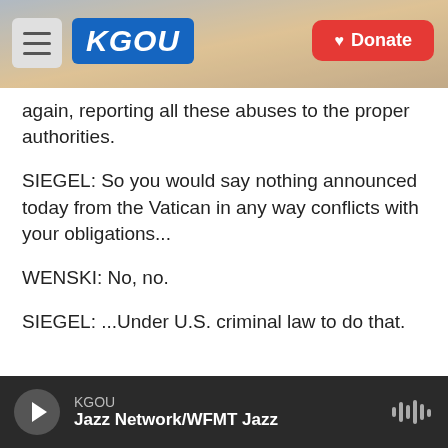[Figure (screenshot): KGOU radio station website header with logo on blue background, hamburger menu, city skyline photo, and red Donate button]
again, reporting all these abuses to the proper authorities.
SIEGEL: So you would say nothing announced today from the Vatican in any way conflicts with your obligations...
WENSKI: No, no.
SIEGEL: ...Under U.S. criminal law to do that.
WENSKI: No, not at all.
SIEGEL: Back to the environment.
KGOU — Jazz Network/WFMT Jazz